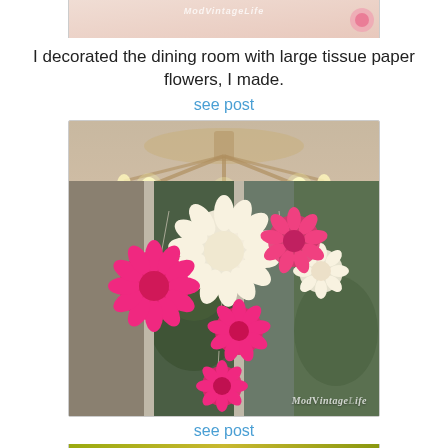[Figure (photo): Partial view of a blog post thumbnail showing a pink floral decoration image with a watermark-style text overlay reading 'ModVintageLife']
I decorated the dining room with large tissue paper flowers, I made.
see post
[Figure (photo): Photo of large tissue paper flowers (pink/hot pink and cream/white) hanging from a chandelier near a window. Flowers are arranged at different heights. Watermark 'ModVintageLife' in lower right corner.]
see post
[Figure (photo): Partial bottom image strip showing a yellow-green colored image, cropped at page bottom.]